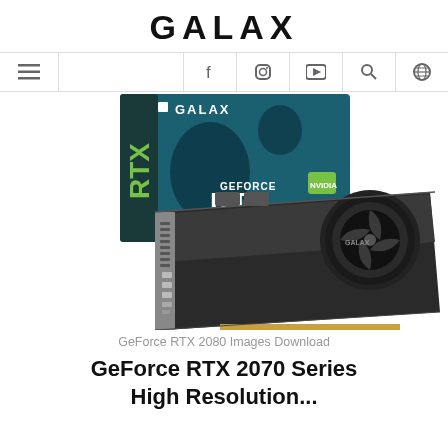GALAX
[Figure (other): Navigation bar with hamburger menu icon, Facebook, Instagram, YouTube, search, and globe icons]
[Figure (photo): GALAX GeForce RTX 2080 graphics card with retail box showing a hooded figure and NVIDIA GeForce RTX 2080 branding]
GeForce RTX 2080 Images Download
GeForce RTX 2070 Series High Resolution...